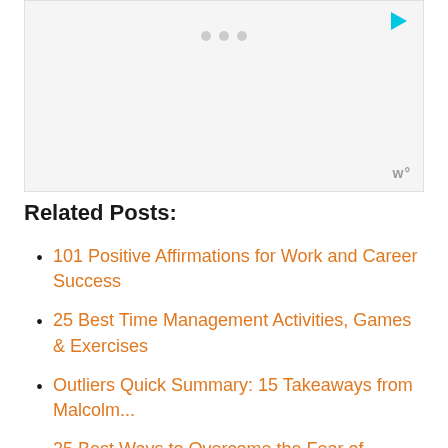[Figure (other): Advertisement placeholder box with three gray dots, a cyan play button icon in the top right, and a stylized 'w°' logo in the bottom right]
Related Posts:
101 Positive Affirmations for Work and Career Success
25 Best Time Management Activities, Games & Exercises
Outliers Quick Summary: 15 Takeaways from Malcolm...
25 Best Ways to Overcome the Fear of